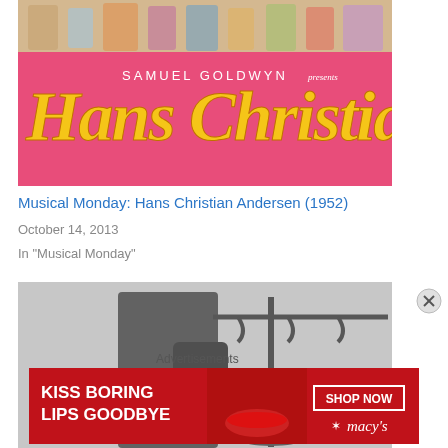[Figure (photo): Top portion of a movie poster for Hans Christian Andersen (1952) presented by Samuel Goldwyn. Pink/magenta background with cartoon characters at top, white text reading 'SAMUEL GOLDWYN presents' and large yellow stylized text 'Hans Christian' at the bottom.]
Musical Monday: Hans Christian Andersen (1952)
October 14, 2013
In "Musical Monday"
[Figure (photo): Black and white photograph showing a person in a coat standing near what appears to be a coat rack or stand.]
Advertisements
[Figure (other): Macy's advertisement banner with red background. Text reads 'KISS BORING LIPS GOODBYE' with a photo of a woman's face showing red lips in center, and 'SHOP NOW' button with Macy's star logo on the right.]